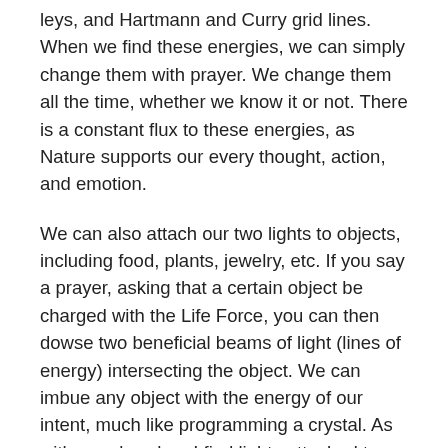leys, and Hartmann and Curry grid lines. When we find these energies, we can simply change them with prayer. We change them all the time, whether we know it or not. There is a constant flux to these energies, as Nature supports our every thought, action, and emotion.
We can also attach our two lights to objects, including food, plants, jewelry, etc. If you say a prayer, asking that a certain object be charged with the Life Force, you can then dowse two beneficial beams of light (lines of energy) intersecting the object. We can imbue any object with the energy of our intent, much like programming a crystal. As with people, when I find lights attached to objects, it is always two.